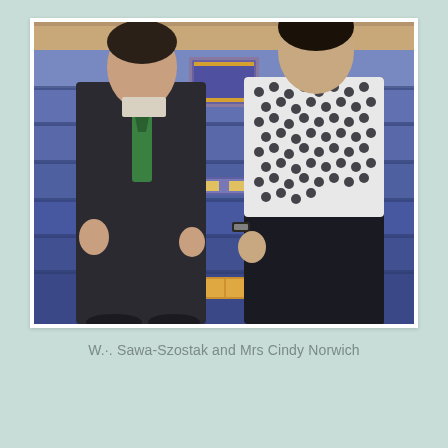[Figure (photo): Two people standing indoors in front of blue carpeted steps. The person on the left wears a dark suit with a green patterned tie. The person on the right wears a black and white patterned shirt with dark pants. There are Masonic or ceremonial items visible on the steps behind them.]
W.·. Sawa-Szostak and Mrs Cindy Norwich